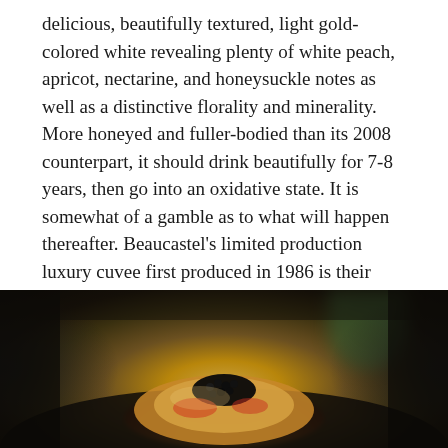delicious, beautifully textured, light gold-colored white revealing plenty of white peach, apricot, nectarine, and honeysuckle notes as well as a distinctive florality and minerality. More honeyed and fuller-bodied than its 2008 counterpart, it should drink beautifully for 7-8 years, then go into an oxidative state. It is somewhat of a gamble as to what will happen thereafter. Beaucastel's limited production luxury cuvee first produced in 1986 is their 100% Roussanne Vieilles Vignes offering. Fifty percent is barrel-fermented in one-year-old barrels, but no new oak is utilized."
[Figure (photo): A close-up food photograph showing what appears to be a gourmet dish with caviar (black pearls) on top of what looks like seafood or other ingredients, served in a dark bowl. The image is warmly lit with blurred background.]